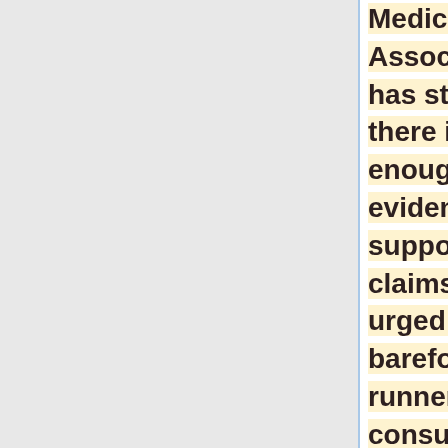Medical Association]] has stated that there is not enough evidence to support such claims and has urged would-be barefoot runners to consult a [[podiatrist]] before doing so.<ref name="APMA_statement">{{cite web|title=APMA Position Statement on Barefoot Running|url=http://www.apma.org/MediaPosition...